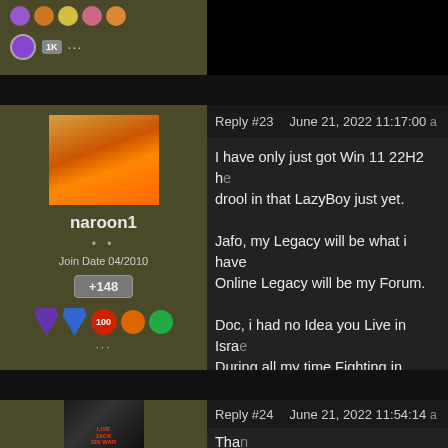[Figure (screenshot): Top forum user sidebar with icons and badges (previous reply, partially visible)]
Reply #23    June 21, 2022 11:17:00
[Figure (photo): Avatar of naroon1 showing a cat-like figure with orange/red background]
naroon1
Join Date 04/2010
+148
I have only just got Win 11 22H2 h... drool in that LazyBoy just yet.

Jafo, my Legacy will be what i have... Online Legacy will be my Forum.

Doc, i had no Idea you Live in Israe... During all my time Fighting in Africa... much as a Brother . Out of all of us... she was The Most Human. She wa... Kicked our Arses on a regular Basi...
Reply #24    June 21, 2022 11:54:14
[Figure (photo): Avatar of second user showing a grumpy cat figure with red text overlay]